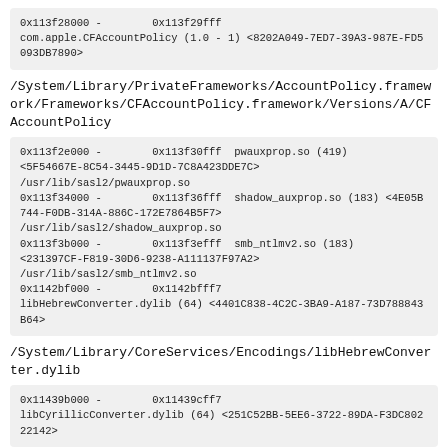0x113f28000 -        0x113f29fff
com.apple.CFAccountPolicy (1.0 - 1) <8202A049-7ED7-39A3-987E-FD5093DB7890>
/System/Library/PrivateFrameworks/AccountPolicy.framework/Frameworks/CFAccountPolicy.framework/Versions/A/CFAccountPolicy
0x113f2e000 -        0x113f30fff  pwauxprop.so (419)
<5F54667E-8C54-3445-9D1D-7C8A423DDE7C>
/usr/lib/sasl2/pwauxprop.so
0x113f34000 -        0x113f36fff  shadow_auxprop.so (183) <4E05B744-F0DB-314A-886C-172E7864B5F7>
/usr/lib/sasl2/shadow_auxprop.so
0x113f3b000 -        0x113f3efff  smb_ntlmv2.so (183)
<231397CF-F819-30D6-9238-A111137F97A2>
/usr/lib/sasl2/smb_ntlmv2.so
0x1142bf000 -        0x1142bfff7
libHebrewConverter.dylib (64) <4401C838-4C2C-3BA9-A187-73D788843B64>
/System/Library/CoreServices/Encodings/libHebrewConverter.dylib
0x11439b000 -        0x11439cff7
libCyrillicConverter.dylib (64) <251C52BB-5EE6-3722-89DA-F3DC80222142>